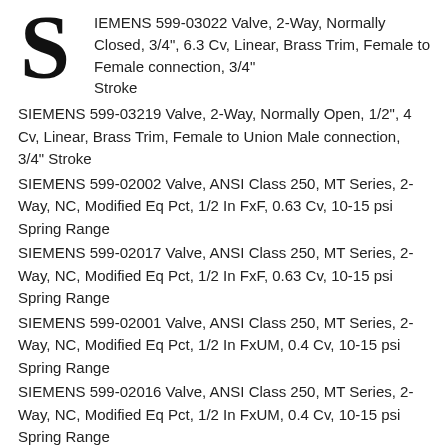[Figure (logo): Siemens S logo in bold black serif font]
IEMENS 599-03022 Valve, 2-Way, Normally Closed, 3/4", 6.3 Cv, Linear, Brass Trim, Female to Female connection, 3/4" Stroke
SIEMENS 599-03219 Valve, 2-Way, Normally Open, 1/2", 4 Cv, Linear, Brass Trim, Female to Union Male connection, 3/4" Stroke
SIEMENS 599-02002 Valve, ANSI Class 250, MT Series, 2-Way, NC, Modified Eq Pct, 1/2 In FxF, 0.63 Cv, 10-15 psi Spring Range
SIEMENS 599-02017 Valve, ANSI Class 250, MT Series, 2-Way, NC, Modified Eq Pct, 1/2 In FxF, 0.63 Cv, 10-15 psi Spring Range
SIEMENS 599-02001 Valve, ANSI Class 250, MT Series, 2-Way, NC, Modified Eq Pct, 1/2 In FxUM, 0.4 Cv, 10-15 psi Spring Range
SIEMENS 599-02016 Valve, ANSI Class 250, MT Series, 2-Way, NC, Modified Eq Pct, 1/2 In FxUM, 0.4 Cv, 10-15 psi Spring Range
SIEMENS 599-02007 Valve, ANSI Class 250, MT Series, 2-Way, NC, Modified Eq Pct, 1/2 In FxUM, 1.6 Cv, 10-15 psi Spring Range
SIEMENS 599-02022 Valve, ANSI Class 250, MT Series, 2-Way, NC,